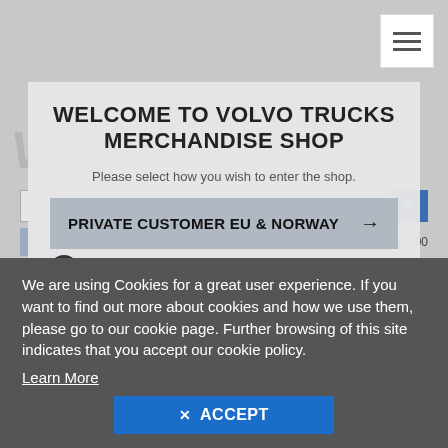[Figure (screenshot): Background of Volvo Trucks website with hamburger menu icon, Volvo watermark text, search bar, cart area, and delivery country row showing Romania flag]
WELCOME TO VOLVO TRUCKS MERCHANDISE SHOP
Please select how you wish to enter the shop.
PRIVATE CUSTOMER EU & NORWAY →
VOLVO EMPLOYEE EU →
We are using Cookies for a great user experience. If you want to find out more about cookies and how we use them, please go to our cookie page. Further browsing of this site indicates that you accept our cookie policy.
Learn More
✕ ACCEPT